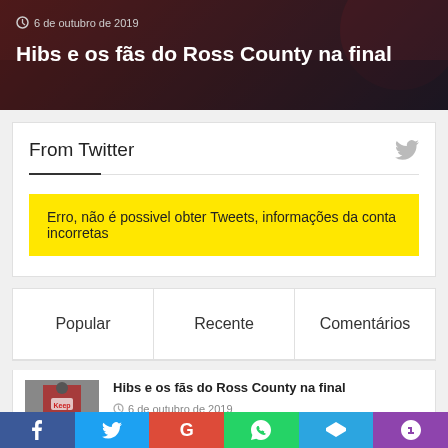6 de outubro de 2019
Hibs e os fãs do Ross County na final
From Twitter
Erro, não é possivel obter Tweets, informações da conta incorretas
Popular  Recente  Comentários
Hibs e os fãs do Ross County na final
6 de outubro de 2019
O Futuro do possível